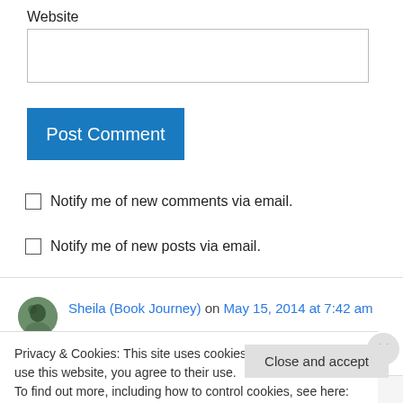Website
[Figure (screenshot): Website text input field (empty, white, bordered)]
[Figure (screenshot): Post Comment blue button]
Notify me of new comments via email.
Notify me of new posts via email.
Sheila (Book Journey) on May 15, 2014 at 7:42 am
Privacy & Cookies: This site uses cookies. By continuing to use this website, you agree to their use.
To find out more, including how to control cookies, see here: Cookie Policy
Close and accept
Follow